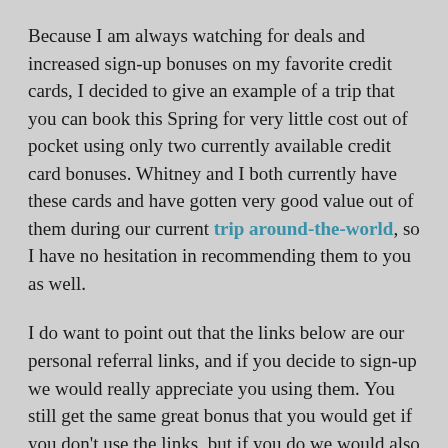Because I am always watching for deals and increased sign-up bonuses on my favorite credit cards, I decided to give an example of a trip that you can book this Spring for very little cost out of pocket using only two currently available credit card bonuses. Whitney and I both currently have these cards and have gotten very good value out of them during our current trip around-the-world, so I have no hesitation in recommending them to you as well.
I do want to point out that the links below are our personal referral links, and if you decide to sign-up we would really appreciate you using them. You still get the same great bonus that you would get if you don't use the links, but if you do we would also get a small referral bonus as well, which will help support our future travels.